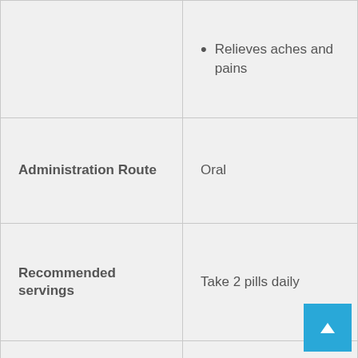|  |  |
| --- | --- |
|  | • Relieves aches and pains |
| Administration Route | Oral |
| Recommended servings | Take 2 pills daily |
| Manufacturing formula | 100% Natural |
| Age range | Adults |
| Price | $49.00 /bottle |